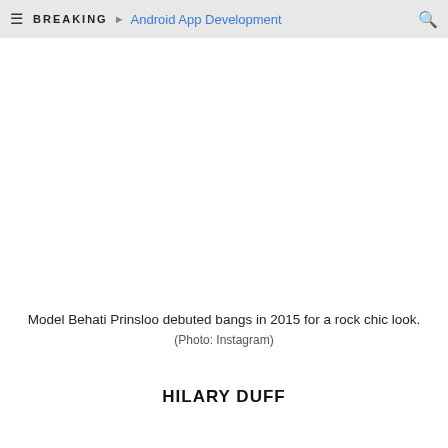BREAKING ▸ Android App Development
[Figure (photo): Large photo area (image of Behati Prinsloo with bangs) — image not rendered]
Model Behati Prinsloo debuted bangs in 2015 for a rock chic look. (Photo: Instagram)
HILARY DUFF